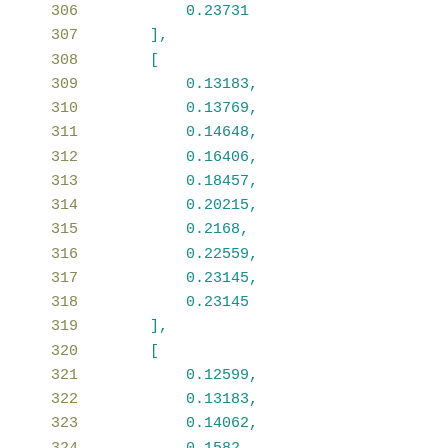306    0.23731
307 ],
308 [
309    0.13183,
310    0.13769,
311    0.14648,
312    0.16406,
313    0.18457,
314    0.20215,
315    0.2168,
316    0.22559,
317    0.23145,
318    0.23145
319 ],
320 [
321    0.12599,
322    0.13183,
323    0.14062,
324    0.1582,
325    0.17578,
326    0.20215,